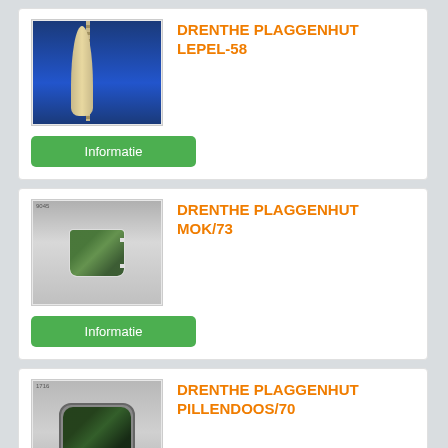[Figure (photo): Product photo of Drenthe Plaggenhut souvenir spoon (LEPEL-58) on blue background]
DRENTHE PLAGGENHUT LEPEL-58
Informatie
[Figure (photo): Product photo of Drenthe Plaggenhut mug (MOK/73) with forest scene on white mug]
DRENTHE PLAGGENHUT MOK/73
Informatie
[Figure (photo): Product photo of Drenthe Plaggenhut pillbox (PILLENDOOS/70) with forest scene]
DRENTHE PLAGGENHUT PILLENDOOS/70
Informatie